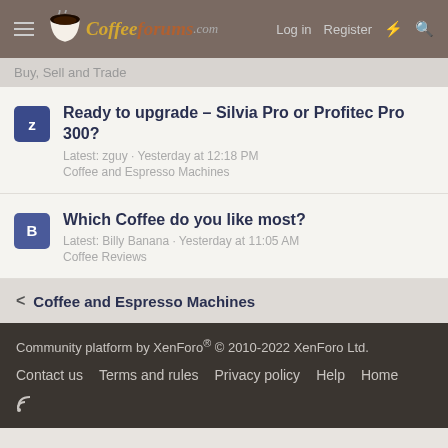CoffeeForums.com - Log in Register
Buy, Sell and Trade
Ready to upgrade - Silvia Pro or Profitec Pro 300? Latest: zguy · Yesterday at 12:18 PM Coffee and Espresso Machines
Which Coffee do you like most? Latest: Billy Banana · Yesterday at 11:05 AM Coffee Reviews
< Coffee and Espresso Machines
Community platform by XenForo® © 2010-2022 XenForo Ltd. Contact us Terms and rules Privacy policy Help Home